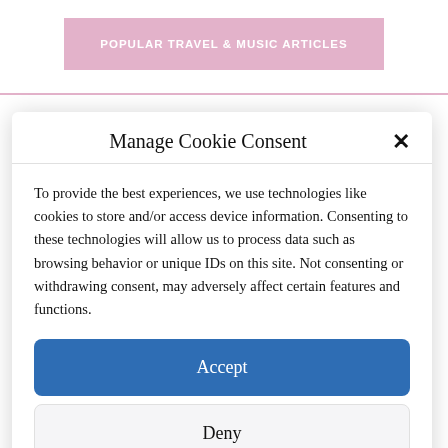POPULAR TRAVEL & MUSIC ARTICLES
Manage Cookie Consent
To provide the best experiences, we use technologies like cookies to store and/or access device information. Consenting to these technologies will allow us to process data such as browsing behavior or unique IDs on this site. Not consenting or withdrawing consent, may adversely affect certain features and functions.
Accept
Deny
View preferences
Cookie Policy  Privacy